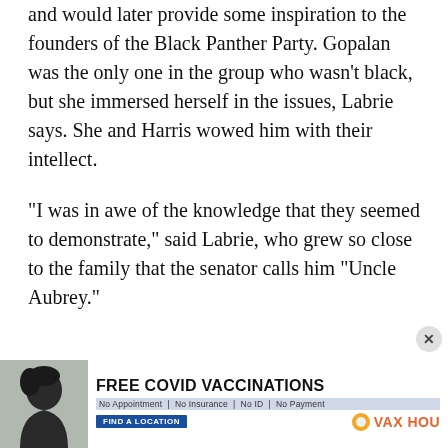and would later provide some inspiration to the founders of the Black Panther Party. Gopalan was the only one in the group who wasn't black, but she immersed herself in the issues, Labrie says. She and Harris wowed him with their intellect.

"I was in awe of the knowledge that they seemed to demonstrate," said Labrie, who grew so close to the family that the senator calls him "Uncle Aubrey."
[Figure (infographic): Advertisement banner for free COVID vaccinations with text: FREE COVID VACCINATIONS, No Appointment | No Insurance | No ID | No Payment, FIND A LOCATION, VAX HOU. Features a woman's profile photo on the left side.]